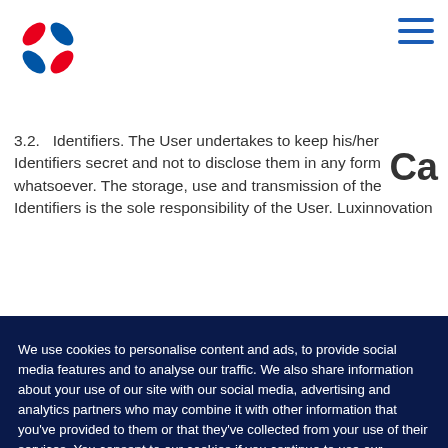[Figure (logo): Luxinnovation logo — four leaf/arrow shapes in red and blue arranged in an X pattern]
[Figure (other): Hamburger menu icon, three horizontal blue lines, top-right corner]
3.2. Identifiers. The User undertakes to keep his/her Identifiers secret and not to disclose them in any form whatsoever. The storage, use and transmission of the Identifiers is the sole responsibility of the User. Luxinnovation
We use cookies to personalise content and ads, to provide social media features and to analyse our traffic. We also share information about your use of our site with our social media, advertising and analytics partners who may combine it with other information that you've provided to them or that they've collected from your use of their services. You consent to our cookies if you continue to use our website.
Accept
Learn More